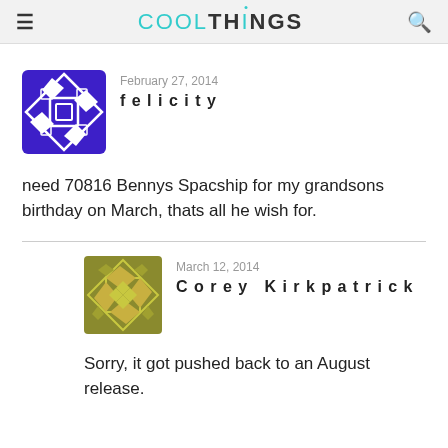COOLTHINGS
February 27, 2014
felicity
need 70816 Bennys Spacship for my grandsons birthday on March, thats all he wish for.
March 12, 2014
Corey Kirkpatrick
Sorry, it got pushed back to an August release.